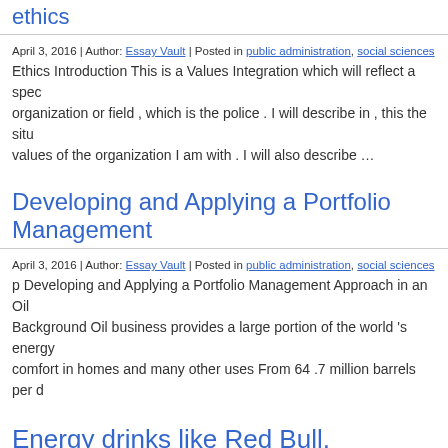ethics
April 3, 2016 | Author: Essay Vault | Posted in public administration, social sciences
Ethics Introduction This is a Values Integration which will reflect a spec organization or field , which is the police . I will describe in , this the situ values of the organization I am with . I will also describe …
Developing and Applying a Portfolio Management
April 3, 2016 | Author: Essay Vault | Posted in public administration, social sciences
p Developing and Applying a Portfolio Management Approach in an Oil Background Oil business provides a large portion of the world 's energy comfort in homes and many other uses From 64 .7 million barrels per d
Energy drinks like Red Bull, Monster, and a drink of caffeine, should they be regulated by the FDA. caffeine content on the label.